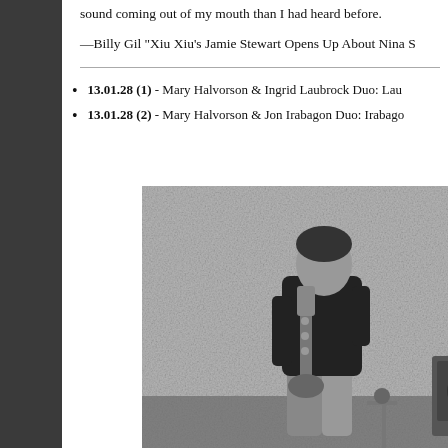sound coming out of my mouth than I had heard before.
—Billy Gil “Xiu Xiu’s Jamie Stewart Opens Up About Nina S
13.01.28 (1) - Mary Halvorson & Ingrid Laubrock Duo: Lau
13.01.28 (2) - Mary Halvorson & Jon Irabagon Duo: Irabago
[Figure (photo): Black and white photo of a saxophonist playing saxophone on stage, with a speckled/textured backdrop, and a partial view of a guitarist with an amplifier on the right side.]